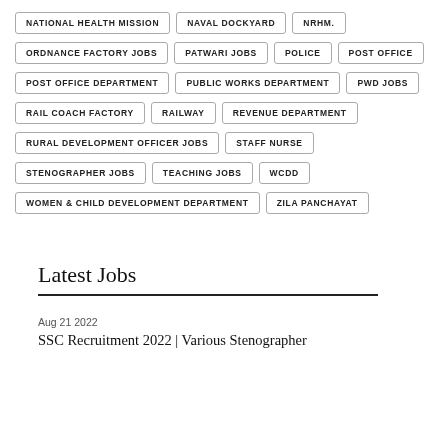NATIONAL HEALTH MISSION
NAVAL DOCKYARD
NRHM.
ORDNANCE FACTORY JOBS
PATWARI JOBS
POLICE
POST OFFICE
POST OFFICE DEPARTMENT
PUBLIC WORKS DEPARTMENT
PWD JOBS
RAIL COACH FACTORY
RAILWAY
REVENUE DEPARTMENT
RURAL DEVELOPMENT OFFICER JOBS
STAFF NURSE
STENOGRAPHER JOBS
TEACHING JOBS
WCDD
WOMEN & CHILD DEVELOPMENT DEPARTMENT
ZILA PANCHAYAT
Latest Jobs
Aug 21 2022
SSC Recruitment 2022 | Various Stenographer